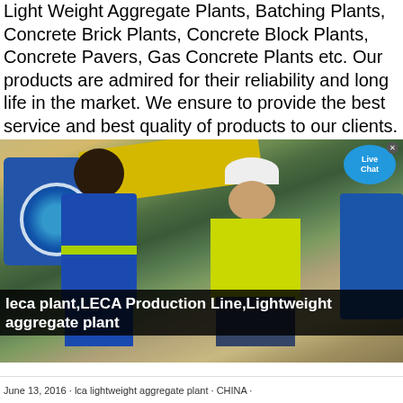Light Weight Aggregate Plants, Batching Plants, Concrete Brick Plants, Concrete Block Plants, Concrete Pavers, Gas Concrete Plants etc. Our products are admired for their reliability and long life in the market. We ensure to provide the best service and best quality of products to our clients.
[Figure (photo): Two workers standing outdoors in front of industrial machinery. One wears a blue coverall, the other wears a yellow safety vest and white hard hat. Blue machinery visible in background. A 'Live Chat' bubble overlays the top-right corner.]
leca plant,LECA Production Line,Lightweight aggregate plant
June 13, 2016 · lca lightweight aggregate plant · CHINA ·